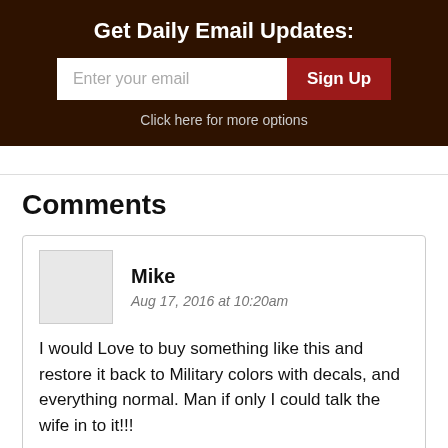Get Daily Email Updates:
Enter your email | Sign Up
Click here for more options
Comments
Mike
Aug 17, 2016 at 10:20am
I would Love to buy something like this and restore it back to Military colors with decals, and everything normal. Man if only I could talk the wife in to it!!!
Reply